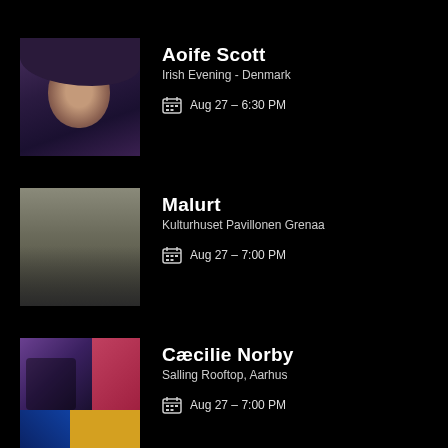Aoife Scott
Irish Evening - Denmark
Aug 27 - 6:30 PM
Malurt
Kulturhuset Pavillonen Grenaa
Aug 27 - 7:00 PM
Cæcilie Norby
Salling Rooftop, Aarhus
Aug 27 - 7:00 PM